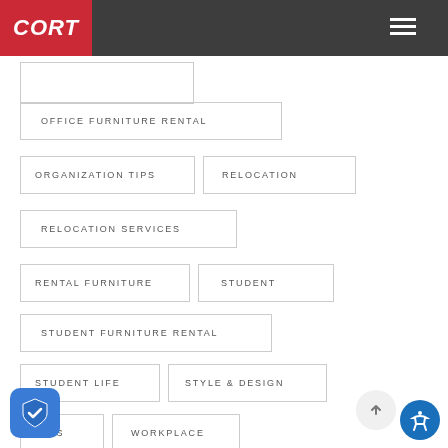CORT
OFFICE FURNITURE RENTAL
ORGANIZATION TIPS
RELOCATION
RELOCATION SERVICES
RENTAL FURNITURE
STUDENT
STUDENT FURNITURE RENTAL
STUDENT LIFE
STYLE & DESIGN
TIPS
WORKPLACE